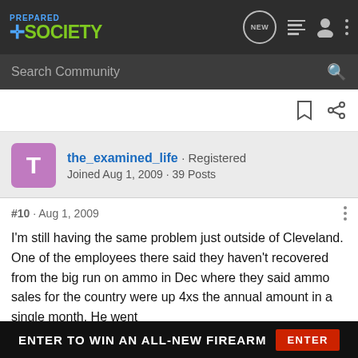PREPARED SOCIETY
Search Community
the_examined_life · Registered
Joined Aug 1, 2009 · 39 Posts
#10 · Aug 1, 2009
I'm still having the same problem just outside of Cleveland. One of the employees there said they haven't recovered from the big run on ammo in Dec where they said ammo sales for the country were up 4xs the annual amount in a single month. He went on ell....
[Figure (screenshot): Advertisement banner: ENTER TO WIN AN ALL-NEW FIREARM with ENTER button in red]